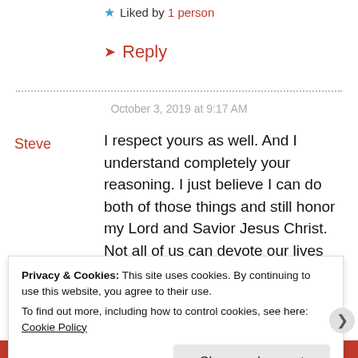Liked by 1 person
Reply
October 3, 2019 at 9:17 AM
Steve
I respect yours as well. And I understand completely your reasoning. I just believe I can do both of those things and still honor my Lord and Savior Jesus Christ. Not all of us can devote our lives 100% like you can, and I admire you for that. And I
Privacy & Cookies: This site uses cookies. By continuing to use this website, you agree to their use. To find out more, including how to control cookies, see here: Cookie Policy
Close and accept